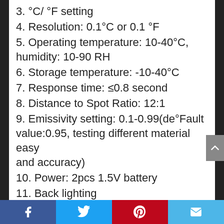3. °C/ °F setting
4. Resolution: 0.1°C or 0.1 °F
5. Operating temperature: 10-40°C, humidity: 10-90 RH
6. Storage temperature: -10-40°C
7. Response time: ≤0.8 second
8. Distance to Spot Ratio: 12:1
9. Emissivity setting: 0.1-0.99(de°Fault value:0.95, testing different material easy and accuracy)
10. Power: 2pcs 1.5V battery
11. Back lighting
12. Automatic power °F in 10 seconds
13. Use in: Industrial thermometer, kitchen temperature, object's serface temperature